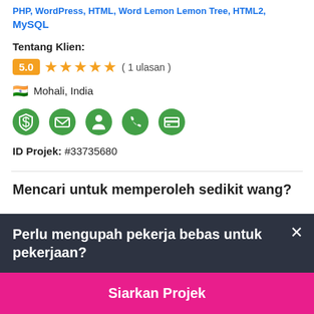MySQL
Tentang Klien:
5.0 ★★★★★ ( 1 ulasan )
🇮🇳 Mohali, India
[Figure (illustration): Five green icon badges: dollar shield, envelope, person, phone, credit card]
ID Projek: #33735680
Mencari untuk memperoleh sedikit wang?
Perlu mengupah pekerja bebas untuk pekerjaan?
Siarkan Projek